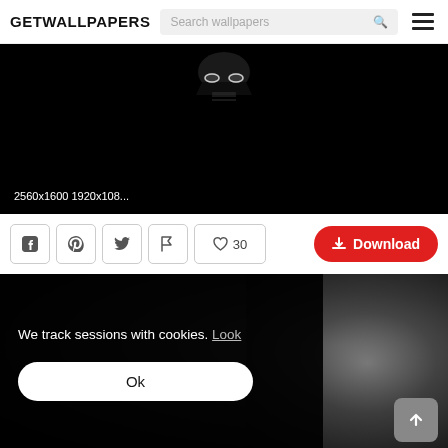GETWALLPAPERS | Search wallpapers
[Figure (screenshot): Dark wallpaper showing a Stormtrooper helmet barely visible in a black background with resolution options '2560x1600 1920x108...' at the bottom]
2560x1600 1920x108...
Facebook | Pinterest | Twitter | Flag | ♡ 30 | Download
[Figure (screenshot): Dark/monochrome wallpaper with cookie consent overlay. Cookie text: 'We track sessions with cookies. Look' and an 'Ok' button. A scroll-to-top arrow button is visible on the right.]
We track sessions with cookies. Look
Ok